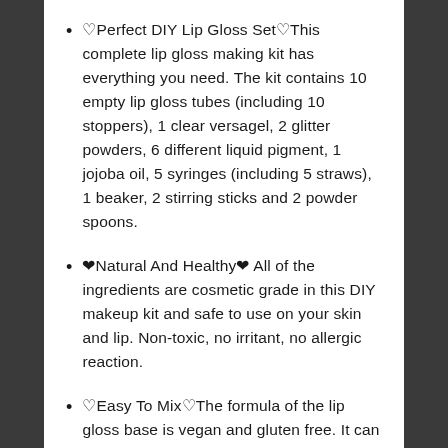🌟Perfect DIY Lip Gloss Set🌟This complete lip gloss making kit has everything you need. The kit contains 10 empty lip gloss tubes (including 10 stoppers), 1 clear versagel, 2 glitter powders, 6 different liquid pigment, 1 jojoba oil, 5 syringes (including 5 straws), 1 beaker, 2 stirring sticks and 2 powder spoons.
🌿Natural And Healthy🌿 All of the ingredients are cosmetic grade in this DIY makeup kit and safe to use on your skin and lip. Non-toxic, no irritant, no allergic reaction.
✨Easy To Mix✨The formula of the lip gloss base is vegan and gluten free. It can be easily mixed with liquid pigment, oil or powder. Leave your lip soft and shiny!